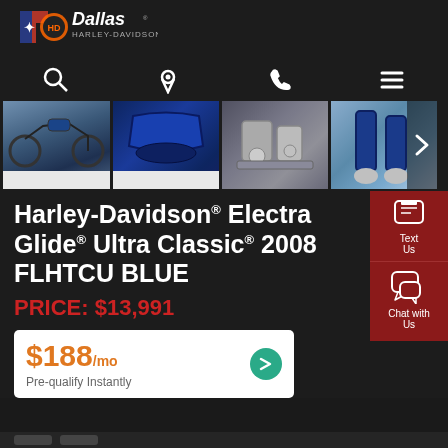[Figure (logo): Dallas Harley-Davidson logo with Texas state shape in red/blue and star]
[Figure (screenshot): Navigation bar with search, location pin, phone, and menu icons]
[Figure (photo): Four thumbnail images of a blue Harley-Davidson motorcycle from different angles, with right arrow navigation]
Harley-Davidson® Electra Glide® Ultra Classic® 2008 FLHTCU BLUE
PRICE: $13,991
$188/mo
Pre-qualify Instantly
[Figure (infographic): Text Us button with phone icon on dark red background]
[Figure (infographic): Chat with Us button with chat icon on dark red background]